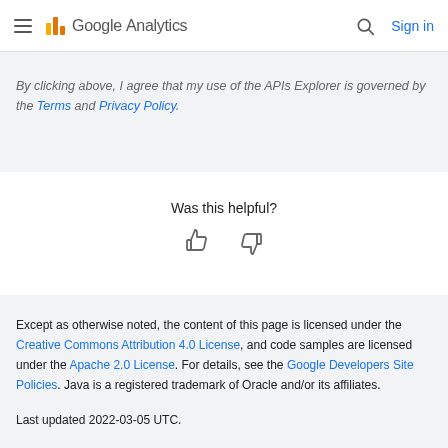Google Analytics
By clicking above, I agree that my use of the APIs Explorer is governed by the Terms and Privacy Policy.
Was this helpful?
[Figure (illustration): Thumbs up and thumbs down icons for feedback]
Except as otherwise noted, the content of this page is licensed under the Creative Commons Attribution 4.0 License, and code samples are licensed under the Apache 2.0 License. For details, see the Google Developers Site Policies. Java is a registered trademark of Oracle and/or its affiliates. Last updated 2022-03-05 UTC.